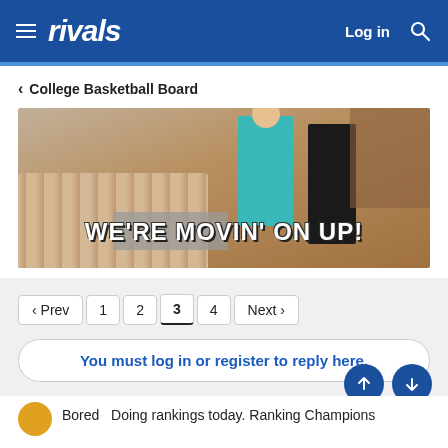rivals — Log in
< College Basketball Board
[Figure (photo): Animated GIF still showing people moving furniture in a living room with bold white text overlay reading WE'RE MOVIN' ON UP!]
‹ Prev   1   2   3   4   Next ›
You must log in or register to reply here.
Similar threads
Bored   Doing rankings today. Ranking Champions